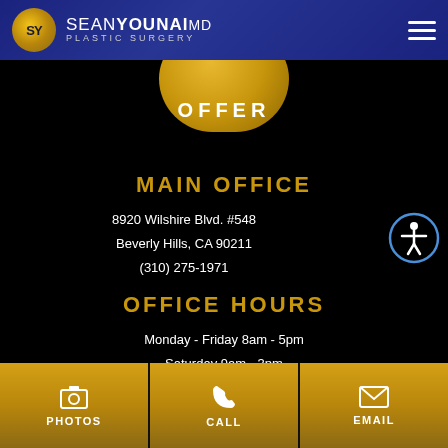SEAN YOUNAI MD PLASTIC SURGERY
[Figure (illustration): Partial gold circle with text OFFER visible at top]
MAIN OFFICE
8920 Wilshire Blvd. #548
Beverly Hills, CA 90211
(310) 275-1971
OFFICE HOURS
Monday - Friday 8am - 5pm
Saturday 9am - 3pm
Sunday Closed
PHOTOS  CALL  EMAIL